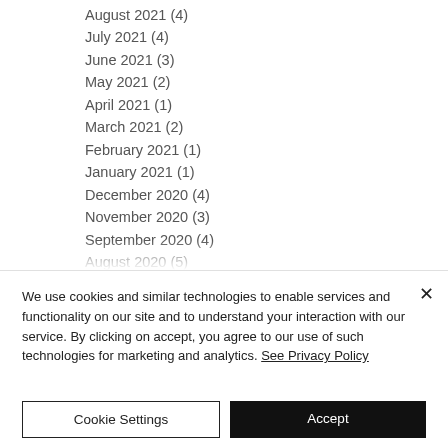August 2021 (4)
July 2021 (4)
June 2021 (3)
May 2021 (2)
April 2021 (1)
March 2021 (2)
February 2021 (1)
January 2021 (1)
December 2020 (4)
November 2020 (3)
September 2020 (4)
August 2020 (5)
July 2020 (5)
We use cookies and similar technologies to enable services and functionality on our site and to understand your interaction with our service. By clicking on accept, you agree to our use of such technologies for marketing and analytics. See Privacy Policy
Cookie Settings
Accept